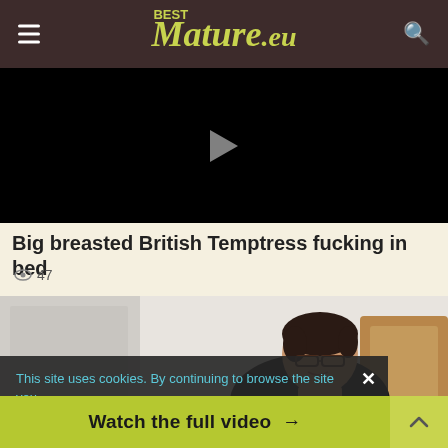BestMature.eu
[Figure (screenshot): Black video player area with partially visible play button at top]
Big breasted British Temptress fucking in bed
👁 47
[Figure (photo): Mature woman with short dark hair, glasses, smiling, seated near a wooden bed headboard]
This site uses cookies. By continuing to browse the site you
Watch the full video →